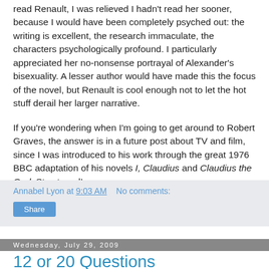read Renault, I was relieved I hadn't read her sooner, because I would have been completely psyched out: the writing is excellent, the research immaculate, the characters psychologically profound. I particularly appreciated her no-nonsense portrayal of Alexander's bisexuality. A lesser author would have made this the focus of the novel, but Renault is cool enough not to let the hot stuff derail her larger narrative.
If you're wondering when I'm going to get around to Robert Graves, the answer is in a future post about TV and film, since I was introduced to his work through the great 1976 BBC adaptation of his novels I, Claudius and Claudius the God. Stay tuned!
Annabel Lyon at 9:03 AM   No comments:
Share
Wednesday, July 29, 2009
12 or 20 Questions